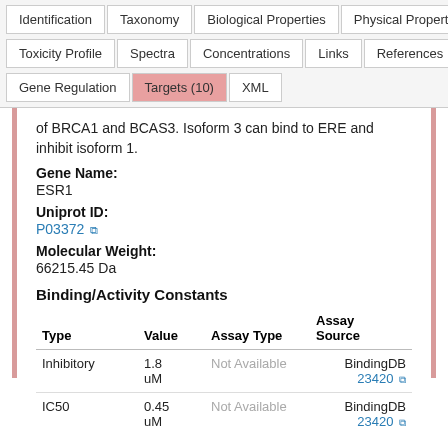| Identification | Taxonomy | Biological Properties | Physical Properties |
| --- | --- | --- | --- |
| Toxicity Profile | Spectra | Concentrations | Links | References |
| Gene Regulation | Targets (10) | XML |
of BRCA1 and BCAS3. Isoform 3 can bind to ERE and inhibit isoform 1.
Gene Name:
ESR1
Uniprot ID:
P03372
Molecular Weight:
66215.45 Da
Binding/Activity Constants
| Type | Value | Assay Type | Assay Source |
| --- | --- | --- | --- |
| Inhibitory | 1.8 uM | Not Available | BindingDB 23420 |
| IC50 | 0.45 uM | Not Available | BindingDB 23420 |